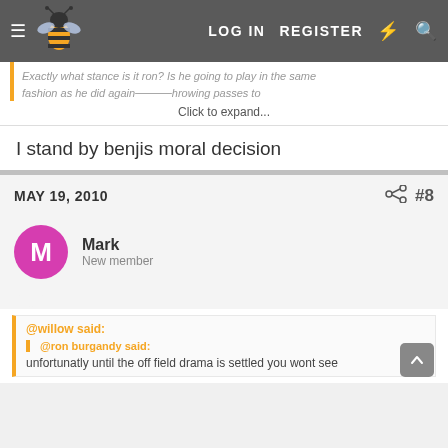LOG IN  REGISTER
Exactly what stance is it ron? Is he going to play in the same fashion as he did against... Click to expand...
I stand by benjis moral decision
MAY 19, 2010  #8
Mark
New member
@willow said:
@ron burgandy said:
unfortunatly until the off field drama is settled you wont see